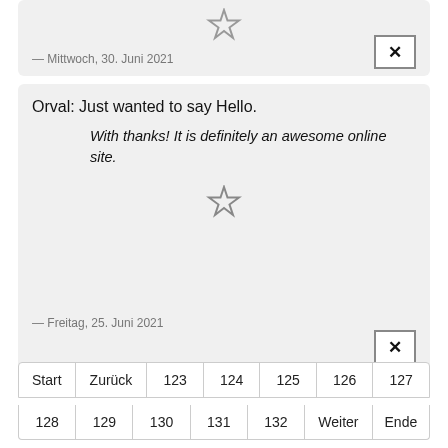[Figure (other): Star icon (unfilled) in top card]
— Mittwoch, 30. Juni 2021
[Figure (other): X close button in top card]
Orval: Just wanted to say Hello.
With thanks! It is definitely an awesome online site.
[Figure (other): Star icon (unfilled) in main card]
— Freitag, 25. Juni 2021
[Figure (other): X close button in main card]
Start  Zurück  123  124  125  126  127
128  129  130  131  132  Weiter  Ende